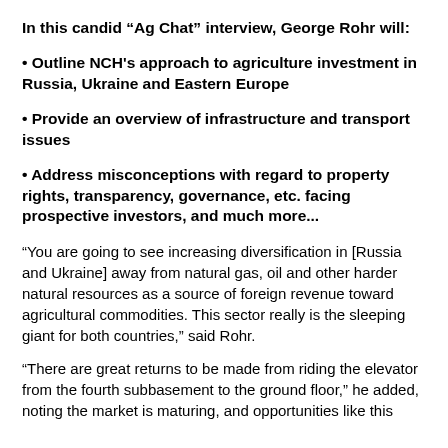In this candid “Ag Chat” interview, George Rohr will:
• Outline NCH's approach to agriculture investment in Russia, Ukraine and Eastern Europe
• Provide an overview of infrastructure and transport issues
• Address misconceptions with regard to property rights, transparency, governance, etc. facing prospective investors, and much more...
“You are going to see increasing diversification in [Russia and Ukraine] away from natural gas, oil and other harder natural resources as a source of foreign revenue toward agricultural commodities. This sector really is the sleeping giant for both countries,” said Rohr.
“There are great returns to be made from riding the elevator from the fourth subbasement to the ground floor,” he added, noting the market is maturing, and opportunities like this don’t come often and last for...